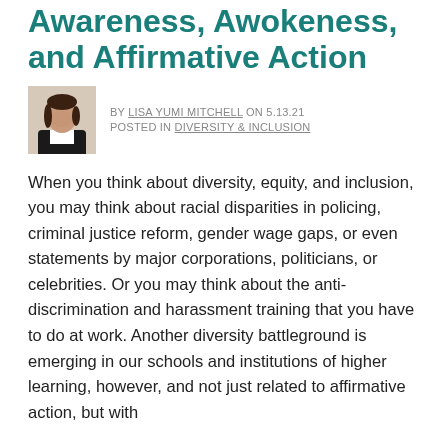Awareness, Awokeness, and Affirmative Action
BY LISA YUMI MITCHELL ON 5.13.21
POSTED IN DIVERSITY & INCLUSION
When you think about diversity, equity, and inclusion, you may think about racial disparities in policing, criminal justice reform, gender wage gaps, or even statements by major corporations, politicians, or celebrities. Or you may think about the anti-discrimination and harassment training that you have to do at work. Another diversity battleground is emerging in our schools and institutions of higher learning, however, and not just related to affirmative action, but with